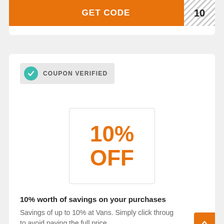[Figure (other): Orange GET CODE button bar with hatched code box showing '10' on the right]
[Figure (other): Coupon verified badge with teal checkmark icon and text COUPON VERIFIED]
[Figure (other): Discount box with orange text showing 10% OFF]
10% worth of savings on your purchases
Savings of up to 10% at Vans. Simply click throug to avoid paying the full price